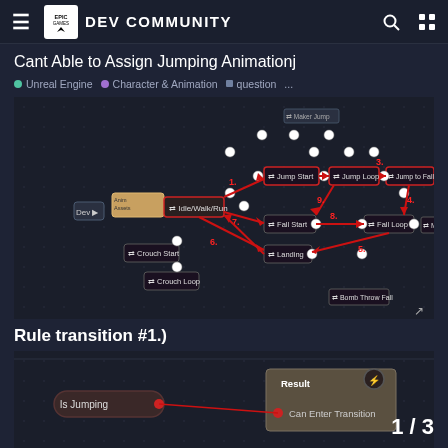Epic Games DEV COMMUNITY
Cant Able to Assign Jumping Animationj
Unreal Engine  Character & Animation  question  ...
[Figure (screenshot): Unreal Engine animation state machine blueprint showing nodes: Idle/Walk/Run, Jump Start, Jump Loop, Jump to Falling, Fall Start, Fall Loop, Landing, Crouch Start, Crouch Loop, Bomb Throw Fall, with numbered red arrows indicating transition rules 1-9]
Rule transition #1.)
[Figure (screenshot): Unreal Engine animation blueprint transition rule showing 'Is Jumping' boolean node connected to 'Result' node with 'Can Enter Transition' pin]
1 / 3